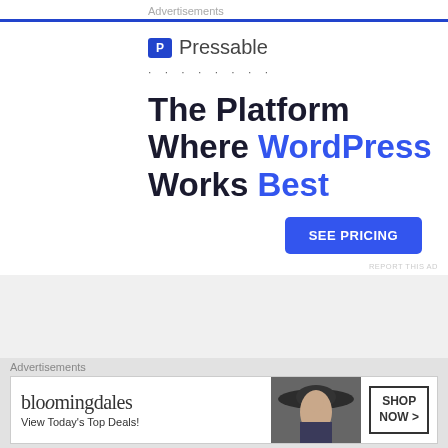Advertisements
[Figure (advertisement): Pressable advertisement: logo with blue P icon and 'Pressable' text, dotted line, headline 'The Platform Where WordPress Works Best', blue 'SEE PRICING' button]
REPORT THIS AD
Doug M
Advertisements
[Figure (advertisement): Bloomingdales advertisement with logo 'bloomingdales', tagline 'View Today's Top Deals!', image of woman in hat, 'SHOP NOW >' button]